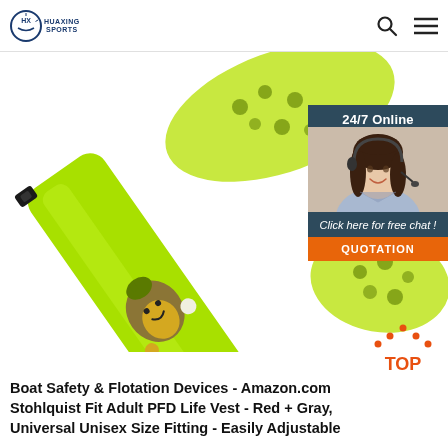HUAXING SPORTS
[Figure (photo): Product photo of a bright yellow-green inflatable life vest / PFD with a cartoon character (smiling avocado-like figure) printed on it, with buckle straps visible. Shot on white background.]
[Figure (photo): Chat widget overlay showing a smiling female customer service agent wearing a headset, with '24/7 Online' header text, 'Click here for free chat!' text, and an orange QUOTATION button. Dark teal/slate background.]
[Figure (illustration): Orange 'TOP' button with upward-pointing arrow icon made of small dots, positioned at bottom right.]
Boat Safety & Flotation Devices - Amazon.com Stohlquist Fit Adult PFD Life Vest - Red + Gray, Universal Unisex Size Fitting - Easily Adjustable